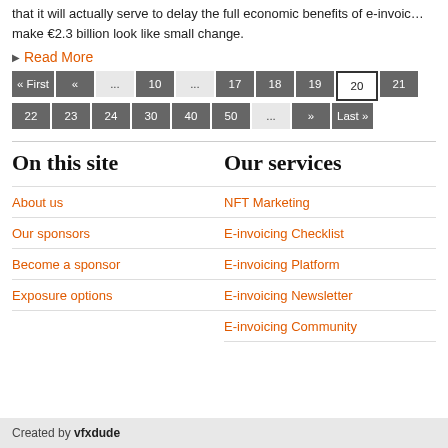that it will actually serve to delay the full economic benefits of e-invoicing make €2.3 billion look like small change.
Read More
Pagination: « First  «  ...  10  ...  17  18  19  20  21  22  23  24  30  40  50  ...  »  Last »
On this site
About us
Our sponsors
Become a sponsor
Exposure options
Our services
NFT Marketing
E-invoicing Checklist
E-invoicing Platform
E-invoicing Newsletter
E-invoicing Community
Created by vfxdude